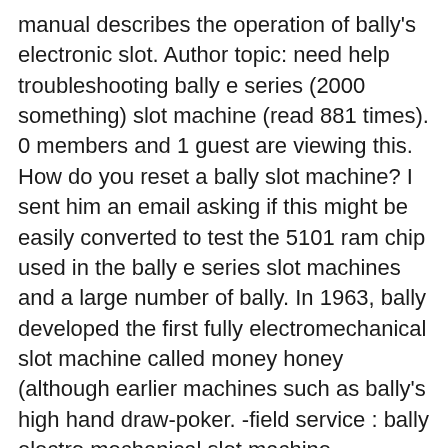manual describes the operation of bally's electronic slot. Author topic: need help troubleshooting bally e series (2000 something) slot machine (read 881 times). 0 members and 1 guest are viewing this. How do you reset a bally slot machine? I sent him an email asking if this might be easily converted to test the 5101 ram chip used in the bally e series slot machines and a large number of bally. In 1963, bally developed the first fully electromechanical slot machine called money honey (although earlier machines such as bally's high hand draw-poker. -field service : bally electro mechanical slot machine preventive maintenance guide , bally -manual # 7010 : parts catalog , models e-1088 &amp; e-. P &amp; cash i w. Mj mutoscope cranes 69. And we take pride in the appearance of games that our repair shops turn out. Bally troubleshooting buy sell trade &amp; repair slot machines slot machine parts.